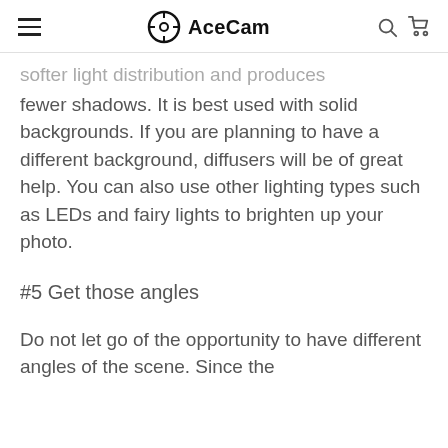AceCam
softer light distribution and produces fewer shadows. It is best used with solid backgrounds. If you are planning to have a different background, diffusers will be of great help. You can also use other lighting types such as LEDs and fairy lights to brighten up your photo.
#5 Get those angles
Do not let go of the opportunity to have different angles of the scene. Since the